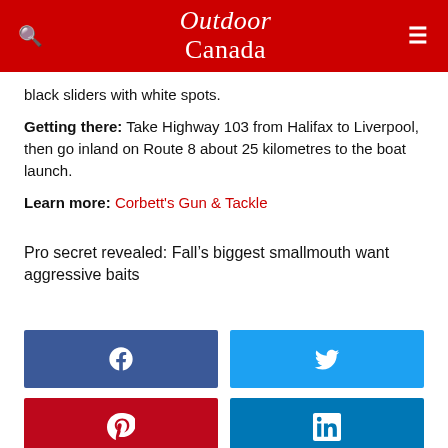Outdoor Canada
black sliders with white spots.
Getting there: Take Highway 103 from Halifax to Liverpool, then go inland on Route 8 about 25 kilometres to the boat launch.
Learn more: Corbett's Gun & Tackle
Pro secret revealed: Fall’s biggest smallmouth want aggressive baits
[Figure (infographic): Social media share buttons: Facebook (blue), Twitter (light blue), Pinterest (red), LinkedIn (blue)]